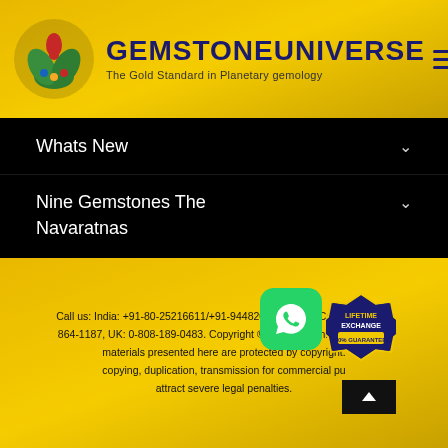GEMSTONEUNIVERSE - The Gold Standard in Planetary gemology
Whats New
Nine Gemstones The Navaratnas
Gemstone Astrology
T & C
Call us: India: +91-80-25216611/+91-9448207777, USA/Canada: 1-888-864-1187, UK: 0-808-189-0483. Copyright © gemstoneuniverse.com All materials presented here are protected by copyright. Unauthorized copying, duplication, transmission for commercial purposes will attract severe legal penalties.